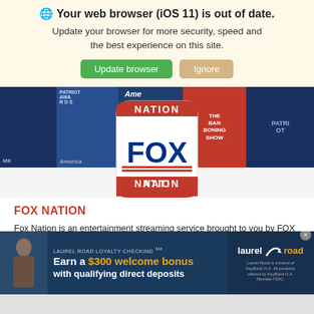Your web browser (iOS 11) is out of date.
Update your browser for more security, speed and the best experience on this site.
Update browser   Ignore
[Figure (screenshot): Fox Nation streaming service hero banner showing various show thumbnails in a blue tile grid. Overlaid with Fox Nation rounded square logo featuring red/white/blue colors with a star.]
FOX NATION
Fox Nation is an entertainment streaming service brought to you by FOX News. Stream exclusive shows, documentaries, and news stories that celebrate America.
[Figure (infographic): Laurel Road Loyalty Checking advertisement banner. Text: LAUREL ROAD LOYALTY CHECKING SM. Earn a $300 welcome bonus with qualifying direct deposits. Laurel Road logo on right with fine print: Laurel Road is a brand of KeyBank N.A. All products offered by KeyBank N.A. Member FDIC.]